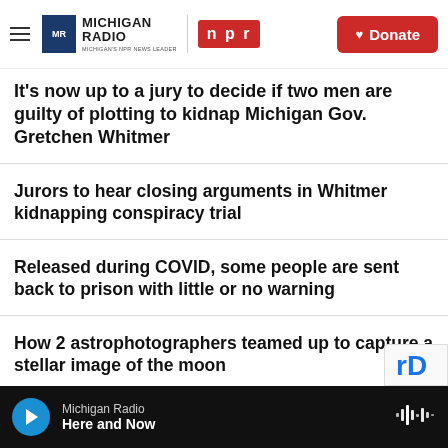Michigan Radio | NPR | Donate
It's now up to a jury to decide if two men are guilty of plotting to kidnap Michigan Gov. Gretchen Whitmer
Jurors to hear closing arguments in Whitmer kidnapping conspiracy trial
Released during COVID, some people are sent back to prison with little or no warning
How 2 astrophotographers teamed up to capture a stellar image of the moon
Michigan Radio · Here and Now